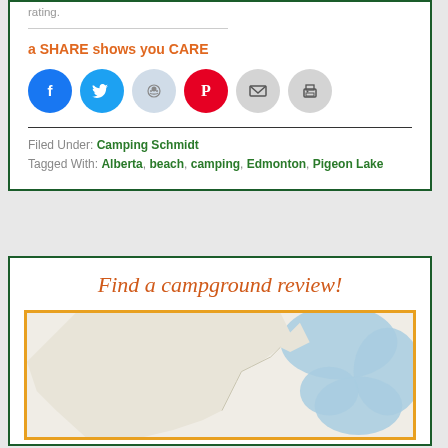rating.
a SHARE shows you CARE
[Figure (other): Social sharing icons: Facebook, Twitter, Reddit, Pinterest, Email, Print]
Filed Under: Camping Schmidt
Tagged With: Alberta, beach, camping, Edmonton, Pigeon Lake
Find a campground review!
[Figure (map): Interactive map with zoom controls showing North America region, with blue water areas visible]